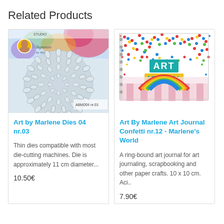Related Products
[Figure (photo): Art by Marlene Dies 04 nr.03 product image showing a circular die-cut pattern on a colorful background]
Art by Marlene Dies 04 nr.03
Thin dies compatible with most die-cutting machines. Die is approximately 11 cm diameter...
10.50€
[Figure (photo): Art By Marlene Art Journal Confetti nr.12 product image showing a colorful confetti-patterned art journal cover with ART JOURNAL text]
Art By Marlene Art Journal Confetti nr.12 - Marlene's World
A ring-bound art journal for art journaling, scrapbooking and other paper crafts. 10 x 10 cm. Aci..
7.90€